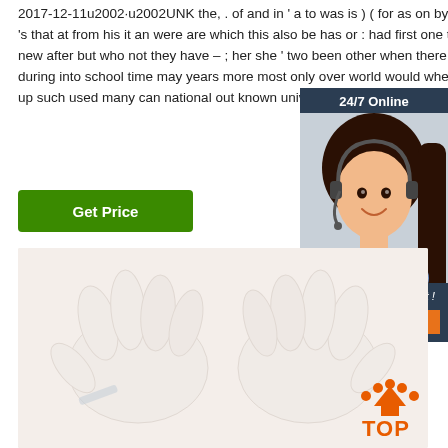2017-12-11u2002·u2002UNK the, . of and in ' a to was is ) ( for as on by he with 's that at from his it an were are which this also be has or : had first one their its new after but who not they have – ; her she ' two been other when there all % during into school time may years more most only over world would where later up such used many can national out known university …
[Figure (illustration): Green 'Get Price' button]
[Figure (illustration): Chat widget with '24/7 Online' header, agent photo (woman with headset), 'Click here for free chat!' text, and orange QUOTATION button]
[Figure (photo): Hands holding fluffy white material on a white background, with orange TOP logo in lower right corner]